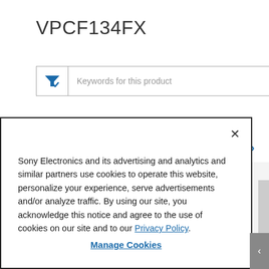VPCF134FX
[Figure (screenshot): Search filter input box with funnel icon and text 'Keywords for this product']
Wi-Fi WPA2 vulnerability
Sony Electronics and its advertising and analytics and similar partners use cookies to operate this website, personalize your experience, serve advertisements and/or analyze traffic. By using our site, you acknowledge this notice and agree to the use of cookies on our site and to our Privacy Policy.
Manage Cookies